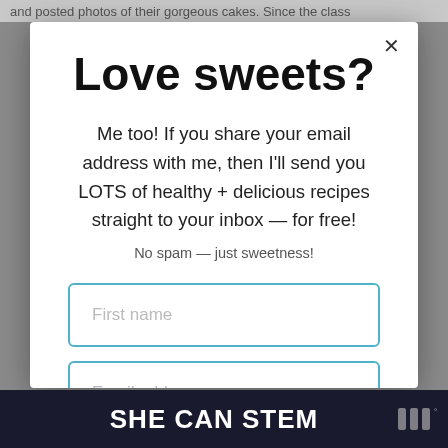and posted photos of their gorgeous cakes. Since the class
Love sweets?
Me too! If you share your email address with me, then I'll send you LOTS of healthy + delicious recipes straight to your inbox — for free!
No spam — just sweetness!
First name
Email address
SHE CAN STEM